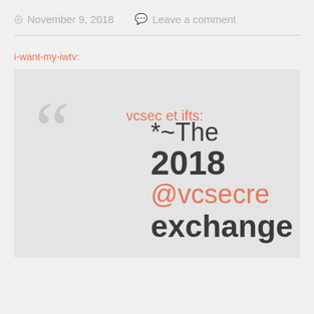November 9, 2018   Leave a comment
i-want-my-iwtv:
[Figure (screenshot): A Tumblr-style quote/reblog block with large decorative quotation marks in gray on a light gray background. The text 'vcsecretgifts:' appears in salmon/coral color. Below and to the right, text reads '*~The 2018 @vcsecre... exchange...' with '2018' in bold dark and '@vcsecre...' in coral/salmon color.]